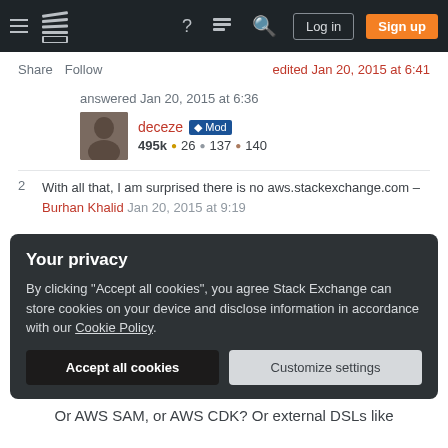Stack Exchange navigation bar with hamburger menu, logo, help, chat, search icons, Log in and Sign up buttons
Share  Follow  edited Jan 20, 2015 at 6:41
answered Jan 20, 2015 at 6:36
deceze Mod
495k  26  137  140
2  With all that, I am surprised there is no aws.stackexchange.com – Burhan Khalid Jan 20, 2015 at 9:19
Your privacy
By clicking "Accept all cookies", you agree Stack Exchange can store cookies on your device and disclose information in accordance with our Cookie Policy.
Accept all cookies    Customize settings
Or AWS SAM, or AWS CDK? Or external DSLs like